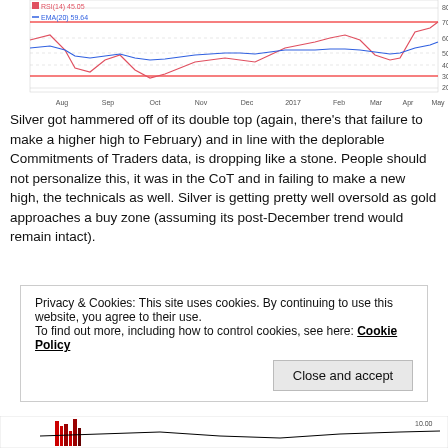[Figure (continuous-plot): RSI indicator chart for Silver showing RSI(14) at 45.05 and EMA(20) at 59.64, with red overbought line near 70 and red oversold line near 30. X-axis shows months from Aug through May (2017). Two oscillating lines (red RSI and blue EMA) plotted over time.]
Silver got hammered off of its double top (again, there’s that failure to make a higher high to February) and in line with the deplorable Commitments of Traders data, is dropping like a stone. People should not personalize this, it was in the CoT and in failing to make a new high, the technicals as well. Silver is getting pretty well oversold as gold approaches a buy zone (assuming its post-December trend would remain intact).
Privacy & Cookies: This site uses cookies. By continuing to use this website, you agree to their use.
To find out more, including how to control cookies, see here: Cookie Policy
Close and accept
[Figure (continuous-plot): Bottom portion of another chart visible at the very bottom of the page showing partial bar/line chart data.]